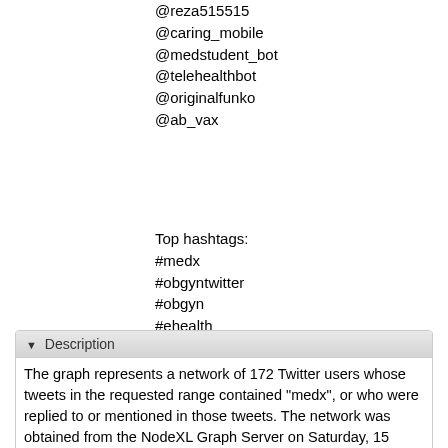@reza515515
@caring_mobile
@medstudent_bot
@telehealthbot
@originalfunko
@ab_vax
Top hashtags:
#medx
#obgyntwitter
#obgyn
#ehealth
#impinv
#tryingtoconceive
#vc
#meded
Description
The graph represents a network of 172 Twitter users whose tweets in the requested range contained "medx", or who were replied to or mentioned in those tweets. The network was obtained from the NodeXL Graph Server on Saturday, 15 January 2022 at 14:00 UTC.